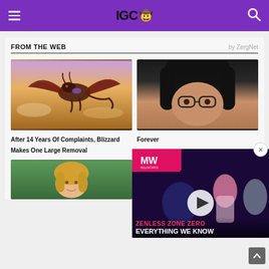IGC 🤠
FROM THE WEB
by ZergNet
[Figure (photo): Fantasy dragon creature flying in purple-golden sunset sky]
After 14 Years Of Complaints, Blizzard Makes One Large Removal
[Figure (photo): Young woman with dark hair and glasses, close-up portrait]
Forever
[Figure (screenshot): Video overlay: Zenless Zone Zero - Everything We Know, with MW (Millworks) logo, anime characters, play button]
[Figure (photo): Blonde woman headshot on green background]
[Figure (photo): Colorful game character or vehicle, red and blue tones]